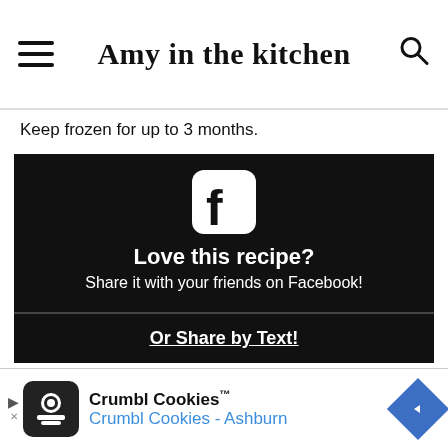Amy in the kitchen
Keep frozen for up to 3 months.
[Figure (infographic): Black rectangular Facebook share widget with Facebook logo icon (white rounded square with 'f'), text: 'Love this recipe? Share it with your friends on Facebook!']
Or Share by Text!
| Nutrition Facts |  |
| --- | --- |
| Pecan Pie Bars |  |
| Serving Size | 1 bar |
[Figure (infographic): Advertisement banner for Crumbl Cookies with logo, text 'Crumbl Cookies™' and 'Crumbl Cookies - Ashburn', navigation arrow icon]